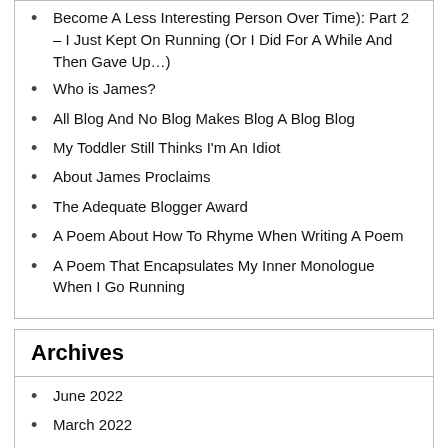Become A Less Interesting Person Over Time): Part 2 – I Just Kept On Running (Or I Did For A While And Then Gave Up…)
Who is James?
All Blog And No Blog Makes Blog A Blog Blog
My Toddler Still Thinks I'm An Idiot
About James Proclaims
The Adequate Blogger Award
A Poem About How To Rhyme When Writing A Poem
A Poem That Encapsulates My Inner Monologue When I Go Running
Archives
June 2022
March 2022
January 2022